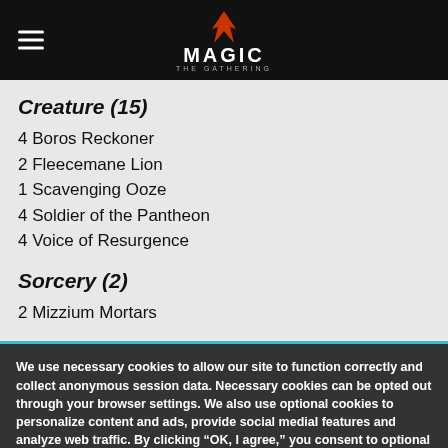Magic: The Gathering
Creature (15)
4 Boros Reckoner
2 Fleecemane Lion
1 Scavenging Ooze
4 Soldier of the Pantheon
4 Voice of Resurgence
Sorcery (2)
2 Mizzium Mortars
We use necessary cookies to allow our site to function correctly and collect anonymous session data. Necessary cookies can be opted out through your browser settings. We also use optional cookies to personalize content and ads, provide social medial features and analyze web traffic. By clicking “OK, I agree,” you consent to optional cookies. (Learn more about cookies.)